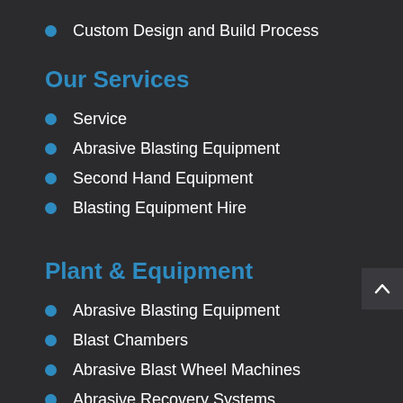Custom Design and Build Process
Our Services
Service
Abrasive Blasting Equipment
Second Hand Equipment
Blasting Equipment Hire
Plant & Equipment
Abrasive Blasting Equipment
Blast Chambers
Abrasive Blast Wheel Machines
Abrasive Recovery Systems
Abrasive Cleaning